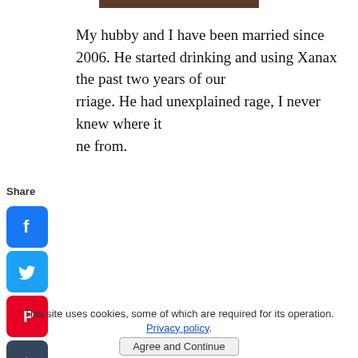[Figure (photo): Partial top of a photo visible at very top of page]
My hubby and I have been married since 2006. He started drinking and using Xanax the past two years of our marriage. He had unexplained rage, I never knew where it came from.
[Figure (infographic): Social share sidebar with Facebook, Twitter, Pinterest, Tumblr, Reddit, WhatsApp, Messenger icons]
seemed like his purpose in life was to hurt me and our s. Anyway after so much emotional and physical abuse st of which he denies, he strangled me and when I naged to scratch his face and set myself free I asked to leave and not return.
This site uses cookies, some of which are required for its operation. Privacy policy.